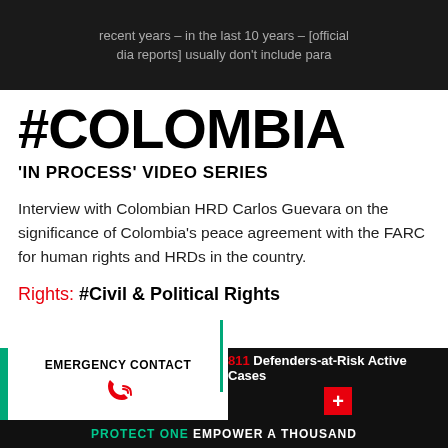[Figure (screenshot): Dark video thumbnail with partially visible text: 'recent years - in the last 10 years - [official dia reports] usually don't include para']
#COLOMBIA
'IN PROCESS' VIDEO SERIES
Interview with Colombian HRD Carlos Guevara on the significance of Colombia's peace agreement with the FARC for human rights and HRDs in the country.
Rights: #Civil & Political Rights
EMERGENCY CONTACT
811 Defenders-at-Risk Active Cases
PROTECT ONE EMPOWER A THOUSAND